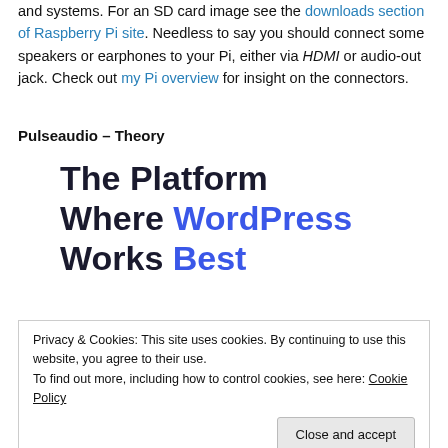and systems. For an SD card image see the downloads section of Raspberry Pi site. Needless to say you should connect some speakers or earphones to your Pi, either via HDMI or audio-out jack. Check out my Pi overview for insight on the connectors.
Pulseaudio – Theory
[Figure (other): WordPress hosting advertisement: 'The Platform Where WordPress Works Best' with WordPress in blue]
Privacy & Cookies: This site uses cookies. By continuing to use this website, you agree to their use.
To find out more, including how to control cookies, see here: Cookie Policy